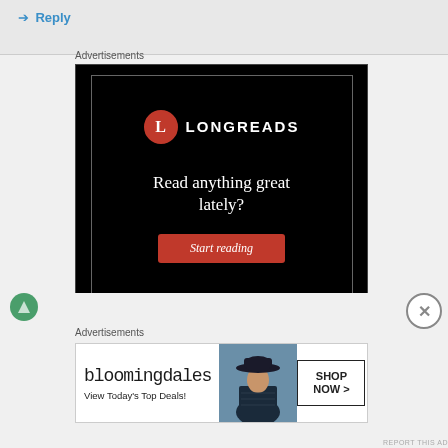Reply
Advertisements
[Figure (screenshot): Longreads advertisement on black background with logo, tagline 'Read anything great lately?' and red 'Start reading' button]
Advertisements
[Figure (screenshot): Bloomingdale's advertisement with text 'View Today's Top Deals!' and 'SHOP NOW >' button]